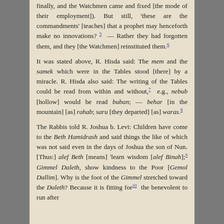finally, and the Watchmen came and fixed [the mode of their employment]). But still, 'these are the commandments' [teaches] that a prophet may henceforth make no innovations? 5 — Rather they had forgotten them, and they [the Watchmen] reinstituted them. 6
It was stated above, R. Hisda said: The mem and the samek which were in the Tables stood [there] by a miracle. R. Hisda also said: The writing of the Tables could be read from within and without, 7 e.g., nebub [hollow] would be read buban; — behar [in the mountain] [as] rahab; saru [they departed] [as] waras. 8
The Rabbis told R. Joshua b. Levi: Children have come to the Beth Hamidrash and said things the like of which was not said even in the days of Joshua the son of Nun. [Thus:] alef Beth [means] 'learn wisdom [alef Binah]; 9 Gimmel Daleth, show kindness to the Poor [Gemol Dallim]. Why is the foot of the Gimmel stretched toward the Daleth? Because it is fitting for 10 the benevolent to run after